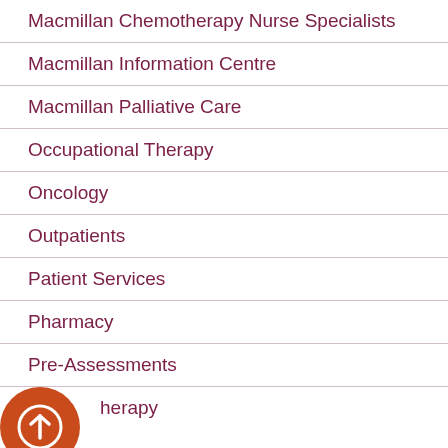Macmillan Chemotherapy Nurse Specialists
Macmillan Information Centre
Macmillan Palliative Care
Occupational Therapy
Oncology
Outpatients
Patient Services
Pharmacy
Pre-Assessments
herapy